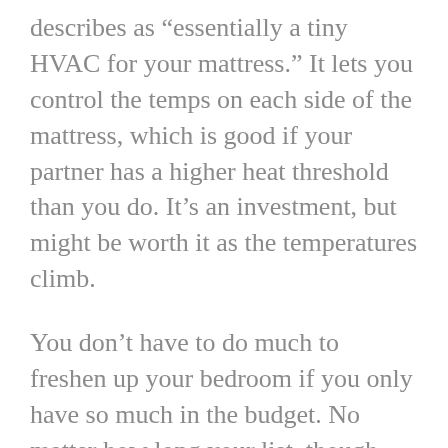describes as “essentially a tiny HVAC for your mattress.” It lets you control the temps on each side of the mattress, which is good if your partner has a higher heat threshold than you do. It’s an investment, but might be worth it as the temperatures climb.
You don’t have to do much to freshen up your bedroom if you only have so much in the budget. No matter how long your list, though, Isabella recommends buying sheets and comforters in person after doing some online scouting. “I would say that bedding is one of those things that is really best looked at and experienced in person,” she notes. “If you find something that lights you